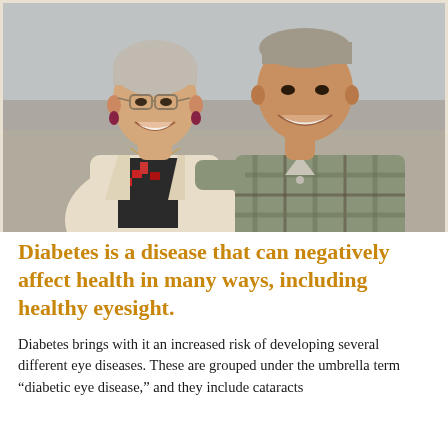[Figure (photo): An elderly couple smiling outdoors. The woman on the left has short grey hair, glasses, and wears a cream blazer over a patterned top with a necklace. The man on the right wears a plaid button-up shirt. They appear to be at a beach or outdoor setting with a light sky background.]
Diabetes is a disease that can negatively affect health in many ways, including healthy eyesight.
Diabetes brings with it an increased risk of developing several different eye diseases. These are grouped under the umbrella term “diabetic eye disease,” and they include cataracts